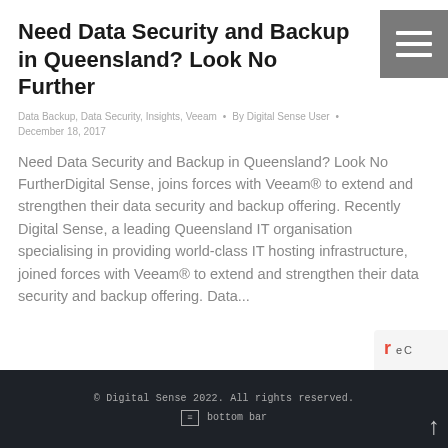Need Data Security and Backup in Queensland? Look No Further
Data Backup, Data Security, Insights, Veeam  •  By Digital Sense User  •  December 18, 2017
Need Data Security and Backup in Queensland? Look No FurtherDigital Sense, joins forces with Veeam® to extend and strengthen their data security and backup offering. Recently Digital Sense, a leading Queensland IT organisation specialising in providing world-class IT hosting infrastructure, joined forces with Veeam® to extend and strengthen their data security and backup offering. Data...
© Digital Sense 2022. All rights reserved.
bottom bar